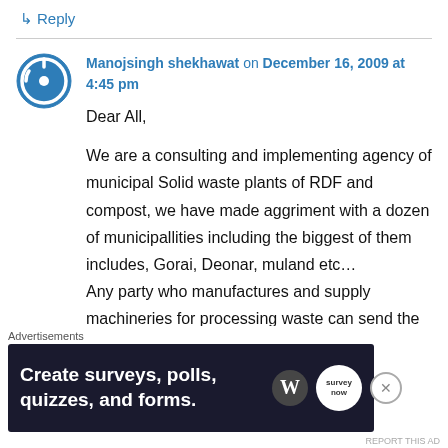↳ Reply
Manojsingh shekhawat on December 16, 2009 at 4:45 pm
Dear All,

We are a consulting and implementing agency of municipal Solid waste plants of RDF and compost, we have made aggriment with a dozen of municipallities including the biggest of them includes, Gorai, Deonar, muland etc…
Any party who manufactures and supply machineries for processing waste can send the
[Figure (screenshot): Advertisement banner: dark navy background with text 'Create surveys, polls, quizzes, and forms.' with WordPress and SurveyNow logos]